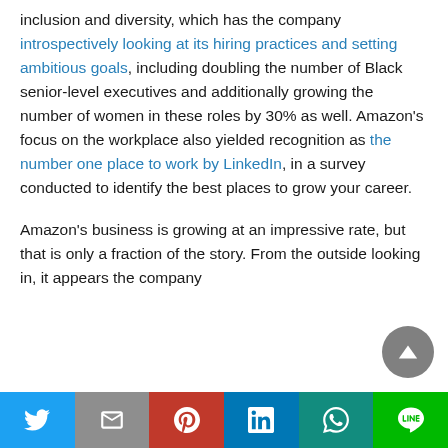inclusion and diversity, which has the company introspectively looking at its hiring practices and setting ambitious goals, including doubling the number of Black senior-level executives and additionally growing the number of women in these roles by 30% as well. Amazon's focus on the workplace also yielded recognition as the number one place to work by LinkedIn, in a survey conducted to identify the best places to grow your career.
Amazon's business is growing at an impressive rate, but that is only a fraction of the story. From the outside looking in, it appears the company